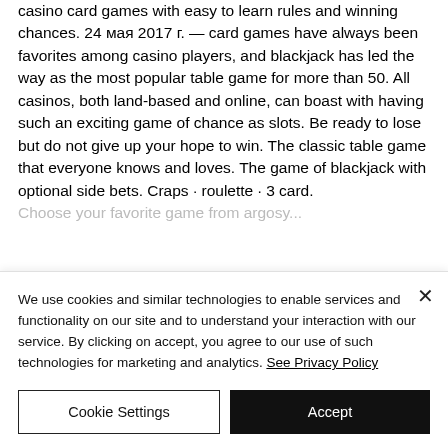casino card games with easy to learn rules and winning chances. 24 мая 2017 г. — card games have always been favorites among casino players, and blackjack has led the way as the most popular table game for more than 50. All casinos, both land-based and online, can boast with having such an exciting game of chance as slots. Be ready to lose but do not give up your hope to win. The classic table game that everyone knows and loves. The game of blackjack with optional side bets. Craps · roulette · 3 card. Choose your favorite game from argosy...
We use cookies and similar technologies to enable services and functionality on our site and to understand your interaction with our service. By clicking on accept, you agree to our use of such technologies for marketing and analytics. See Privacy Policy